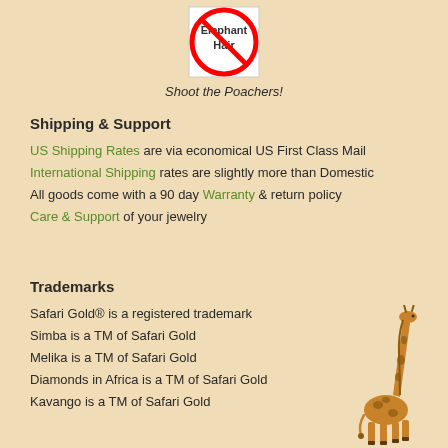[Figure (illustration): No Elephant Hair prohibition sign — red circle with diagonal slash over text 'Elephant Hair']
Shoot the Poachers!
Shipping & Support
US Shipping Rates are via economical US First Class Mail
International Shipping rates are slightly more than Domestic
All goods come with a 90 day Warranty & return policy
Care & Support of your jewelry
Trademarks
Safari Gold® is a registered trademark
Simba is a TM of Safari Gold
Melika is a TM of Safari Gold
Diamonds in Africa is a TM of Safari Gold
Kavango is a TM of Safari Gold
[Figure (illustration): Giraffe illustration in the bottom right corner]